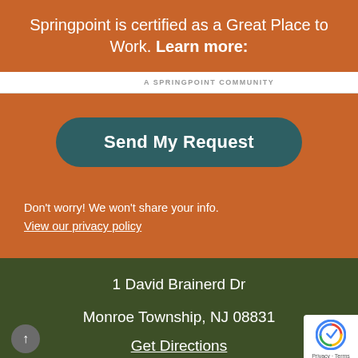Springpoint is certified as a Great Place to Work.  Learn more:
A SPRINGPOINT COMMUNITY
Send My Request
Don't worry! We won't share your info.
View our privacy policy
1 David Brainerd Dr
Monroe Township, NJ 08831
Get Directions